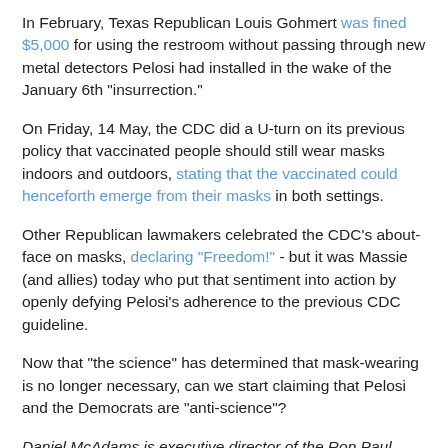In February, Texas Republican Louis Gohmert was fined $5,000 for using the restroom without passing through new metal detectors Pelosi had installed in the wake of the January 6th "insurrection."
On Friday, 14 May, the CDC did a U-turn on its previous policy that vaccinated people should still wear masks indoors and outdoors, stating that the vaccinated could henceforth emerge from their masks in both settings.
Other Republican lawmakers celebrated the CDC's about-face on masks, declaring "Freedom!" - but it was Massie (and allies) today who put that sentiment into action by openly defying Pelosi's adherence to the previous CDC guideline.
Now that "the science" has determined that mask-wearing is no longer necessary, can we start claiming that Pelosi and the Democrats are "anti-science"?
Daniel McAdams is executive director of the Ron Paul